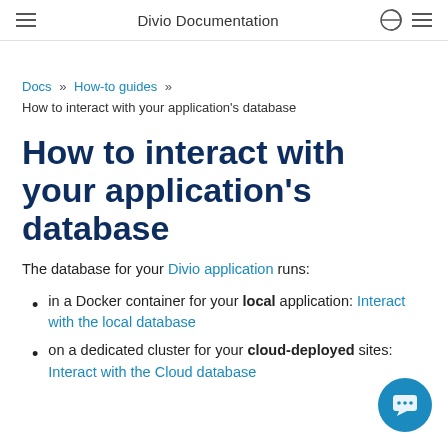Divio Documentation
Docs » How-to guides » How to interact with your application's database
How to interact with your application's database
The database for your Divio application runs:
in a Docker container for your local application: Interact with the local database
on a dedicated cluster for your cloud-deployed sites: Interact with the Cloud database